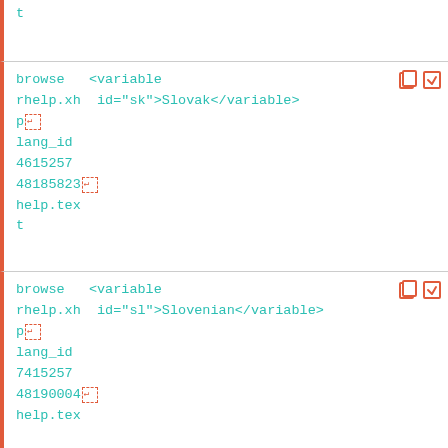t
browse   <variable
rhelp.xh  id="sk">Slovak</variable>
p↵
lang_id
4615257
48185823↵
help.tex
t
browse   <variable
rhelp.xh  id="sl">Slovenian</variable>
p↵
lang_id
7415257
48190004↵
help.tex